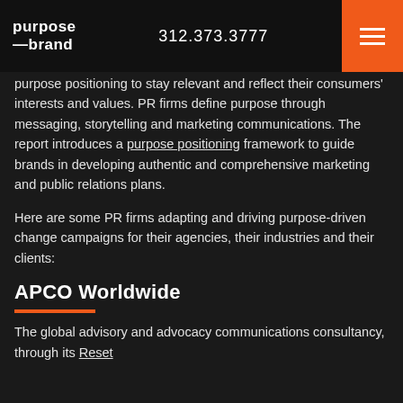purpose brand | 312.373.3777
purpose positioning to stay relevant and reflect their consumers' interests and values. PR firms define purpose through messaging, storytelling and marketing communications. The report introduces a purpose positioning framework to guide brands in developing authentic and comprehensive marketing and public relations plans.
Here are some PR firms adapting and driving purpose-driven change campaigns for their agencies, their industries and their clients:
APCO Worldwide
The global advisory and advocacy communications consultancy, through its Reset